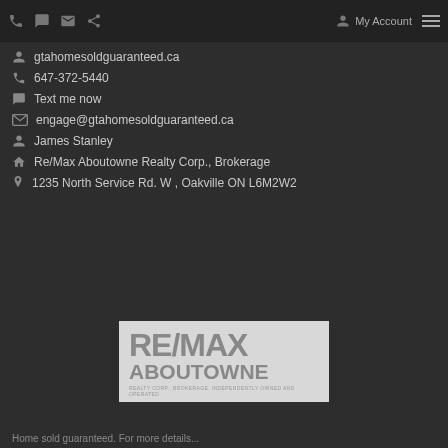My Account
gtahomesoldguaranteed.ca
647-372-5440
Text me now
engage@gtahomesoldguaranteed.ca
James Stanley
Re/Max Aboutowne Realty Corp., Brokerage
1235 North Service Rd. W , Oakville ON L6M2W2
[Figure (logo): RE/MAX Aboutowne Realty Corp., Brokerage. Independently Owned and Operated logo on light grey background]
Home sold guaranteed. For more details...